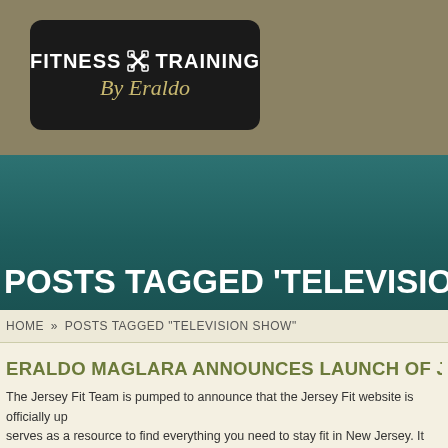[Figure (logo): Fitness Training By Eraldo logo — black rounded rectangle with white bold uppercase text FITNESS TRAINING and gold italic script 'By Eraldo', on a tan/khaki banner background]
POSTS TAGGED 'TELEVISION SHOW'
HOME » POSTS TAGGED "TELEVISION SHOW"
ERALDO MAGLARA ANNOUNCES LAUNCH OF JERSEY FIT WE...
The Jersey Fit Team is pumped to announce that the Jersey Fit website is officially up... serves as a resource to find everything you need to stay fit in New Jersey. It will also f...